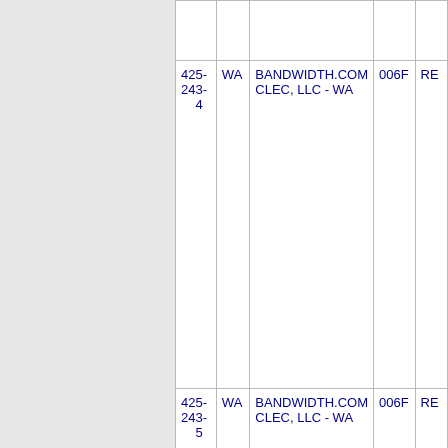| Number | State | Company Name | Code |  |
| --- | --- | --- | --- | --- |
| 425-243-4 | WA | BANDWIDTH.COM CLEC, LLC - WA | 006F | RE |
| 425-243-5 | WA | BANDWIDTH.COM CLEC, LLC - WA | 006F | RE |